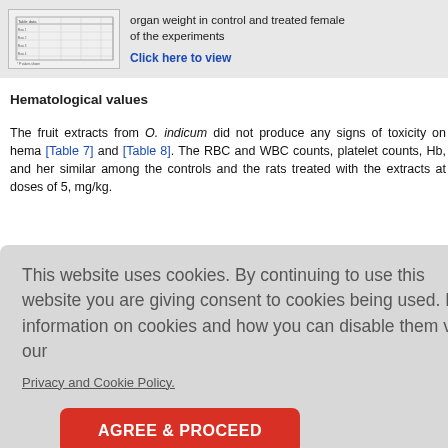[Figure (table-as-image): Thumbnail image of a data table showing organ weight in control and treated female rats]
organ weight in control and treated female of the experiments
Click here to view
Hematological values
The fruit extracts from O. indicum did not produce any signs of toxicity on hema [Table 7] and [Table 8]. The RBC and WBC counts, platelet counts, Hb, and her similar among the controls and the rats treated with the extracts at doses of 5, mg/kg.
This website uses cookies. By continuing to use this website you are giving consent to cookies being used. For information on cookies and how you can disable them visit our
Privacy and Cookie Policy.
AGREE & PROCEED
n indicum and treated
n indicum and treated